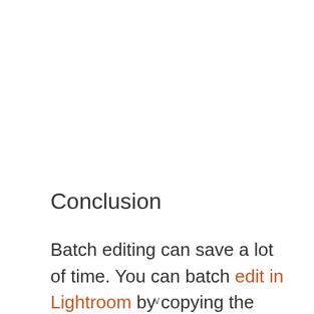Conclusion
Batch editing can save a lot of time. You can batch edit in Lightroom by copying the edits from one picture and pasting it on another. Besides this, you